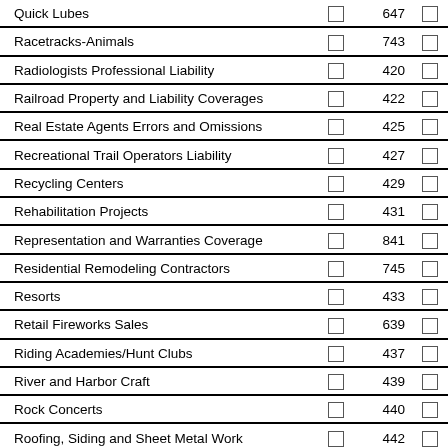Quick Lubes | 647
Racetracks-Animals | 743
Radiologists Professional Liability | 420
Railroad Property and Liability Coverages | 422
Real Estate Agents Errors and Omissions | 425
Recreational Trail Operators Liability | 427
Recycling Centers | 429
Rehabilitation Projects | 431
Representation and Warranties Coverage | 841
Residential Remodeling Contractors | 745
Resorts | 433
Retail Fireworks Sales | 639
Riding Academies/Hunt Clubs | 437
River and Harbor Craft | 439
Rock Concerts | 440
Roofing, Siding and Sheet Metal Work | 442